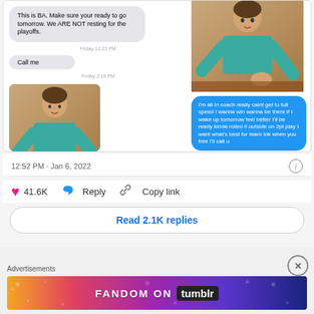[Figure (screenshot): Screenshot of text message conversation showing gray bubble with 'This is BA. Make sure your ready to go tomorrow. We ARE NOT resting for the playoffs.' and 'Call me', plus two photos of a man in teal polo shirt, and a blue bubble with 'I'm all in coach really caint get to full speed I wanna win wanna be there if I wake up tomorrow feel better I'll be ready kinda rolled it outside on 2pt play I want what's best for team Ink when you free I'll call u']
12:52 PM · Jan 6, 2022
41.6K  Reply  Copy link
Read 2.1K replies
Advertisements
[Figure (illustration): Fandom on Tumblr advertisement banner with colorful gradient background]